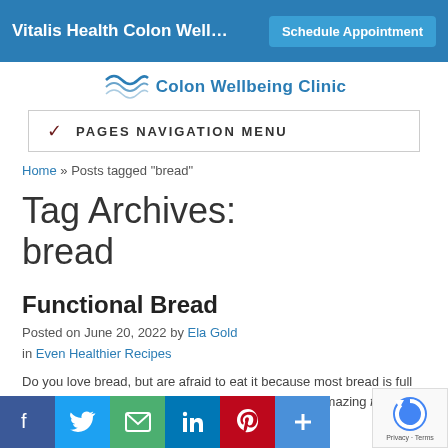Vitalis Health Colon Well...  |  Schedule Appointment
[Figure (logo): Colon Wellbeing Clinic logo with wavy lines and blue text]
PAGES NAVIGATION MENU
Home » Posts tagged "bread"
Tag Archives:
bread
Functional Bread
Posted on June 20, 2022 by Ela Gold in Even Healthier Recipes
Do you love bread, but are afraid to eat it because most bread is full of gluten, yeast, and other dodgy ingredients? This amazing functional bread is full of goodness. It is
[Figure (screenshot): Social sharing icons row: Facebook, Twitter, Email, LinkedIn, Pinterest, More]